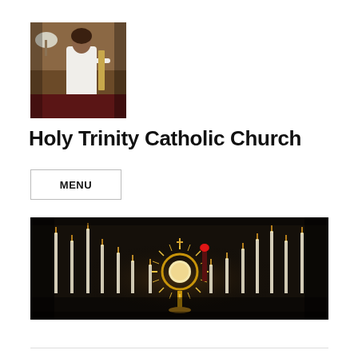[Figure (photo): A person in white shirt in a church interior, side profile, near an altar with flowers]
Holy Trinity Catholic Church
MENU
[Figure (photo): Wide banner photo of a dark church interior with many lit white candles and a gold monstrance in the center, with a small red sanctuary lamp visible]